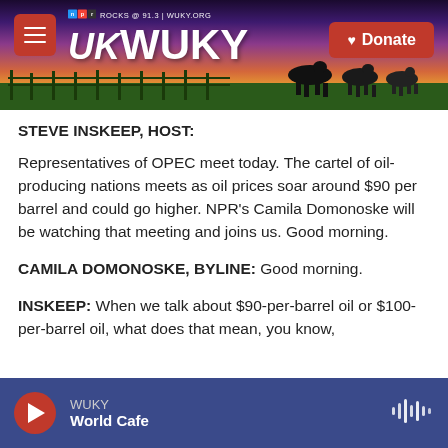[Figure (screenshot): WUKY NPR radio station website header banner with sunset/golden hour landscape with horses silhouette, hamburger menu button, WUKY logo, and red Donate button]
STEVE INSKEEP, HOST:
Representatives of OPEC meet today. The cartel of oil-producing nations meets as oil prices soar around $90 per barrel and could go higher. NPR's Camila Domonoske will be watching that meeting and joins us. Good morning.
CAMILA DOMONOSKE, BYLINE: Good morning.
INSKEEP: When we talk about $90-per-barrel oil or $100-per-barrel oil, what does that mean, you know,
WUKY World Cafe